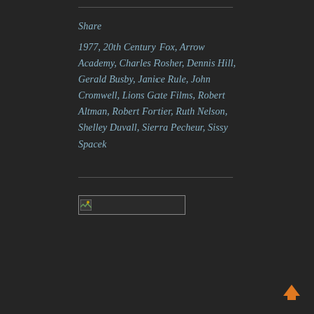Share
1977, 20th Century Fox, Arrow Academy, Charles Rosher, Dennis Hill, Gerald Busby, Janice Rule, John Cromwell, Lions Gate Films, Robert Altman, Robert Fortier, Ruth Nelson, Shelley Duvall, Sierra Pecheur, Sissy Spacek
[Figure (other): Broken image placeholder thumbnail]
[Figure (other): Orange upward arrow navigation icon]